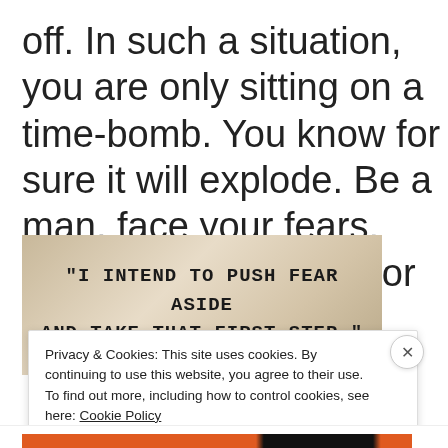off. In such a situation, you are only sitting on a time-bomb. You know for sure it will explode. Be a man, face your fears. You are empowered for such.
[Figure (photo): Image with motivational quote text: "I INTEND TO PUSH FEAR ASIDE AND TAKE THAT FIRST STEP." on a metallic/beige background]
Privacy & Cookies: This site uses cookies. By continuing to use this website, you agree to their use.
To find out more, including how to control cookies, see here: Cookie Policy
Close and accept